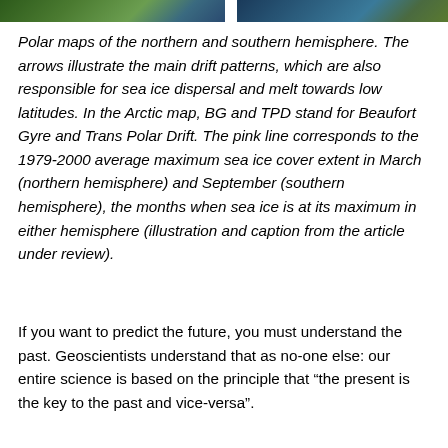[Figure (photo): Partial view of polar maps of the northern and southern hemisphere, cropped at the top of the page. Two satellite images side by side showing polar views.]
Polar maps of the northern and southern hemisphere. The arrows illustrate the main drift patterns, which are also responsible for sea ice dispersal and melt towards low latitudes. In the Arctic map, BG and TPD stand for Beaufort Gyre and Trans Polar Drift. The pink line corresponds to the 1979-2000 average maximum sea ice cover extent in March (northern hemisphere) and September (southern hemisphere), the months when sea ice is at its maximum in either hemisphere (illustration and caption from the article under review).
If you want to predict the future, you must understand the past. Geoscientists understand that as no-one else: our entire science is based on the principle that “the present is the key to the past and vice-versa”.